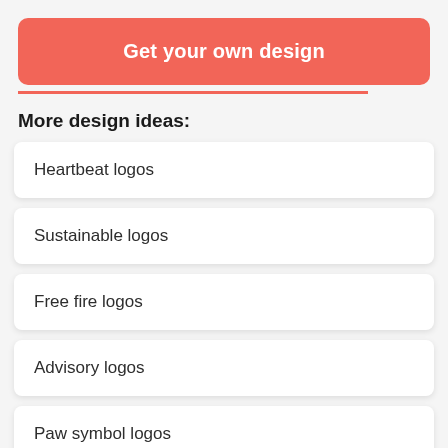[Figure (other): Red/coral rounded button with white bold text 'Get your own design']
More design ideas:
Heartbeat logos
Sustainable logos
Free fire logos
Advisory logos
Paw symbol logos